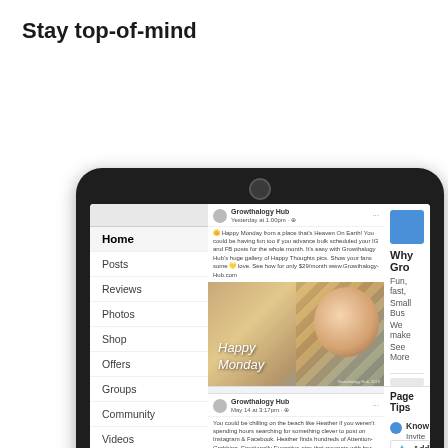Stay top-of-mind
[Figure (screenshot): A tablet device showing a Facebook Page interface with a navigation sidebar on the left (Home, Posts, Reviews, Photos, Shop, Offers, Groups, Community, Videos, Events, About, Jobs), a center feed with two posts showing 'Happy Monday' images from Growthalogy Hub, and a right panel showing 'Why Gro...', 'Fun, fast, Small Bus...', 'We make', 'See More', Page Tips section with 'Know...', 'Invite', 'help y', 'Add P', 'Give', '50 YO' items.]